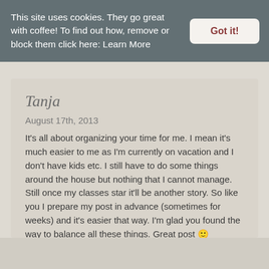This site uses cookies. They go great with coffee! To find out how, remove or block them click here: Learn More
Tanja
August 17th, 2013
It's all about organizing your time for me. I mean it's much easier to me as I'm currently on vacation and I don't have kids etc. I still have to do some things around the house but nothing that I cannot manage. Still once my classes star it'll be another story. So like you I prepare my post in advance (sometimes for weeks) and it's easier that way. I'm glad you found the way to balance all these things. Great post 🙂